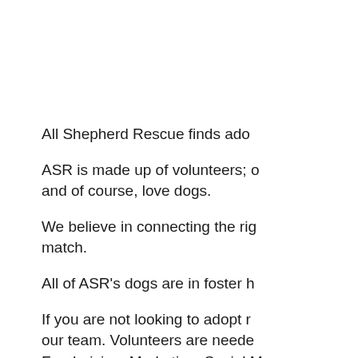All Shepherd Rescue finds ado
ASR is made up of volunteers; and of course, love dogs.
We believe in connecting the rig match.
All of ASR's dogs are in foster h
If you are not looking to adopt r our team. Volunteers are neede Fundraising, Marketing, Social M
With your help, All Shepherd Re their family. Your next best frien